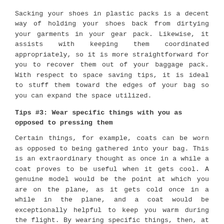Sacking your shoes in plastic packs is a decent way of holding your shoes back from dirtying your garments in your gear pack. Likewise, it assists with keeping them coordinated appropriately, so it is more straightforward for you to recover them out of your baggage pack. With respect to space saving tips, it is ideal to stuff them toward the edges of your bag so you can expand the space utilized.
Tips #3: Wear specific things with you as opposed to pressing them
Certain things, for example, coats can be worn as opposed to being gathered into your bag. This is an extraordinary thought as once in a while a coat proves to be useful when it gets cool. A genuine model would be the point at which you are on the plane, as it gets cold once in a while in the plane, and a coat would be exceptionally helpful to keep you warm during the flight. By wearing specific things, then, at that point, most certainly you will let loose more space in your bag.
Gathering your bag can be drawn-out, yet with cautious